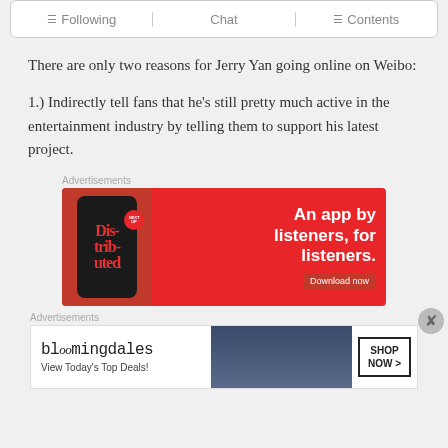[Figure (screenshot): Navigation bar with Following, Chat, and Contents tabs]
There are only two reasons for Jerry Yan going online on Weibo:
1.) Indirectly tell fans that he's still pretty much active in the entertainment industry by telling them to support his latest project.
Advertisements
[Figure (photo): Red advertisement banner for a music app called Distributed with phone mockup and text: An app by listeners, for listeners. Download now]
Advertisements
[Figure (photo): Bloomingdale's advertisement with logo, View Today's Top Deals tagline, woman in hat, and Shop Now button]